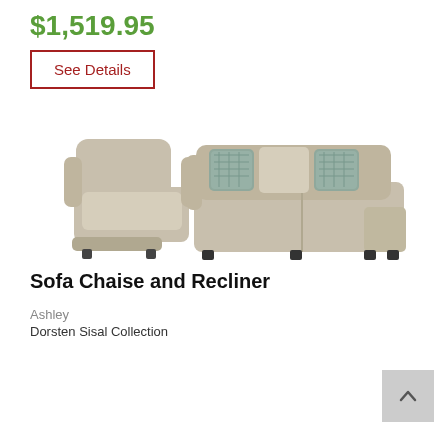$1,519.95
See Details
[Figure (photo): A beige/tan sofa chaise and recliner set from the Dorsten Sisal Collection by Ashley. The recliner is on the left and the sofa chaise with decorative pillows is on the right.]
Sofa Chaise and Recliner
Ashley
Dorsten Sisal Collection